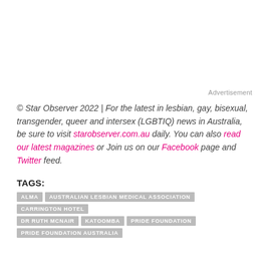Advertisement
© Star Observer 2022 | For the latest in lesbian, gay, bisexual, transgender, queer and intersex (LGBTIQ) news in Australia, be sure to visit starobserver.com.au daily. You can also read our latest magazines or Join us on our Facebook page and Twitter feed.
TAGS:
ALMA
AUSTRALIAN LESBIAN MEDICAL ASSOCIATION
CARRINGTON HOTEL
DR RUTH MCNAIR
KATOOMBA
PRIDE FOUNDATION
PRIDE FOUNDATION AUSTRALIA